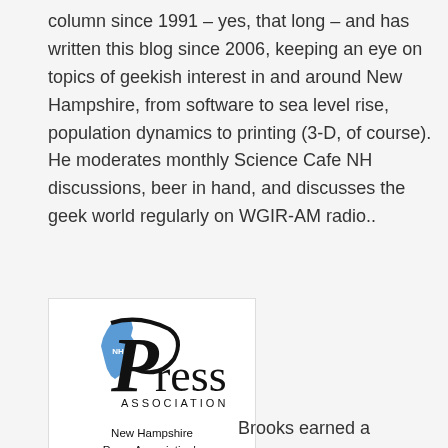column since 1991 – yes, that long – and has written this blog since 2006, keeping an eye on topics of geekish interest in and around New Hampshire, from software to sea level rise, population dynamics to printing (3-D, of course). He moderates monthly Science Cafe NH discussions, beer in hand, and discusses the geek world regularly on WGIR-AM radio..
[Figure (logo): New Hampshire Press Association logo with stylized 'Press Association' text, blue NH state shape graphic, and award text reading 'New Hampshire Press Association's BEST BLOG 2011, 2012 & 2013']
Brooks earned a